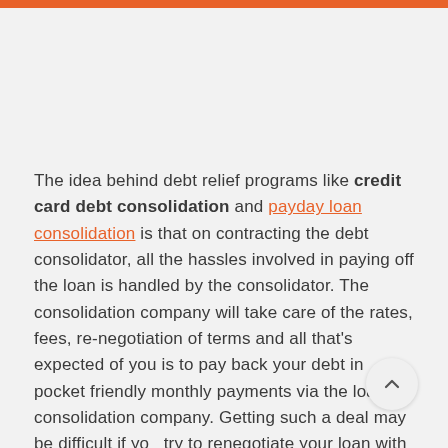The idea behind debt relief programs like credit card debt consolidation and payday loan consolidation is that on contracting the debt consolidator, all the hassles involved in paying off the loan is handled by the consolidator. The consolidation company will take care of the rates, fees, re-negotiation of terms and all that's expected of you is to pay back your debt in pocket friendly monthly payments via the loan consolidation company. Getting such a deal may be difficult if you try to renegotiate your loan with the creditor on your own.